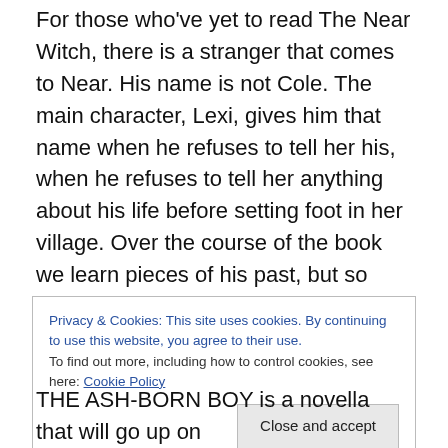For those who've yet to read The Near Witch, there is a stranger that comes to Near. His name is not Cole. The main character, Lexi, gives him that name when he refuses to tell her his, when he refuses to tell her anything about his life before setting foot in her village. Over the course of the book we learn pieces of his past, but so much of it is never told.
And that's why I decided to write THE ASH-BORN BOY.
“Who was Cole?” people ask me.
Privacy & Cookies: This site uses cookies. By continuing to use this website, you agree to their use.
To find out more, including how to control cookies, see here: Cookie Policy
THE ASH-BORN BOY is a novella that will go up on